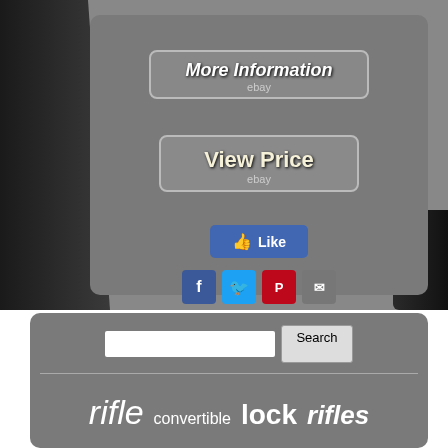[Figure (screenshot): Gun/rifle product listing page with gray card overlay showing eBay-style buttons and social sharing icons, plus a tag cloud search section at bottom]
More Information
ebay
View Price
ebay
Like
Social share icons: Facebook, Twitter, Pinterest, Email
Search
rifle  convertible  lock  rifles  lockable  double  steel  bench  display  long  ammo  locker  wall